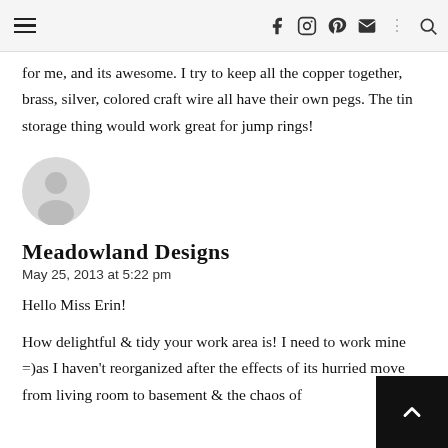≡  f  Instagram  P  mail  ⋮  search
for me, and its awesome. I try to keep all the copper together, brass, silver, colored craft wire all have their own pegs. The tin storage thing would work great for jump rings!
[Figure (illustration): Default user avatar icon — grey circle with person silhouette]
Meadowland Designs
May 25, 2013 at 5:22 pm
Hello Miss Erin!
How delightful & tidy your work area is! I need to work mine =)as I haven't reorganized after the effects of its hurried move from living room to basement & the chaos of